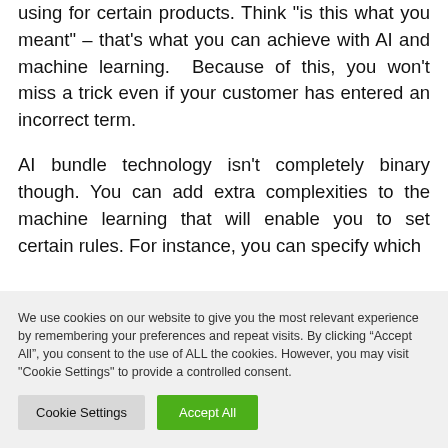using for certain products. Think "is this what you meant" – that's what you can achieve with AI and machine learning. Because of this, you won't miss a trick even if your customer has entered an incorrect term.
AI bundle technology isn't completely binary though. You can add extra complexities to the machine learning that will enable you to set certain rules. For instance, you can specify which
We use cookies on our website to give you the most relevant experience by remembering your preferences and repeat visits. By clicking "Accept All", you consent to the use of ALL the cookies. However, you may visit "Cookie Settings" to provide a controlled consent.